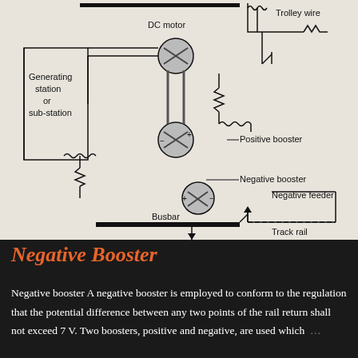[Figure (circuit-diagram): Electrical schematic of a negative booster system for DC traction, showing generating station/sub-station, DC motor, positive booster, negative booster, trolley wire, negative feeder, busbar, and track rail connections.]
Negative Booster
Negative booster A negative booster is employed to conform to the regulation that the potential difference between any two points of the rail return shall not exceed 7 V. Two boosters, positive and negative, are used which ...